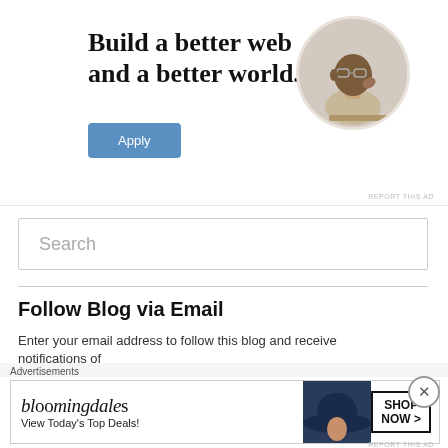[Figure (infographic): Advertisement banner: 'Build a better web and a better world.' with an Apply button and a circular photo of a man thinking]
REPORT THIS AD
[Figure (screenshot): Search input box with placeholder text 'Search']
Follow Blog via Email
Enter your email address to follow this blog and receive notifications of
Advertisements
[Figure (infographic): Bloomingdale's advertisement: 'bloomingdales / View Today's Top Deals!' with SHOP NOW > button]
REPORT THIS AD